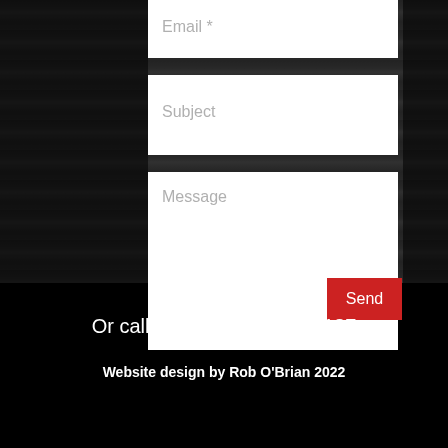Email *
Subject
Message
Send
Or call Vee on: 01633 264187
Website design by Rob O'Brian 2022